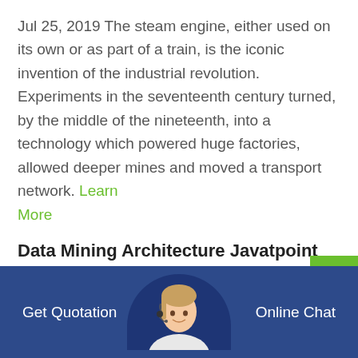Jul 25, 2019 The steam engine, either used on its own or as part of a train, is the iconic invention of the industrial revolution. Experiments in the seventeenth century turned, by the middle of the nineteenth, into a technology which powered huge factories, allowed deeper mines and moved a transport network. Learn More
Data Mining Architecture Javatpoint
Data Mining Engine: The data mining engine is a major component of any data mining system. It contains several modules for operating data mining
Get Quotation   Online Chat